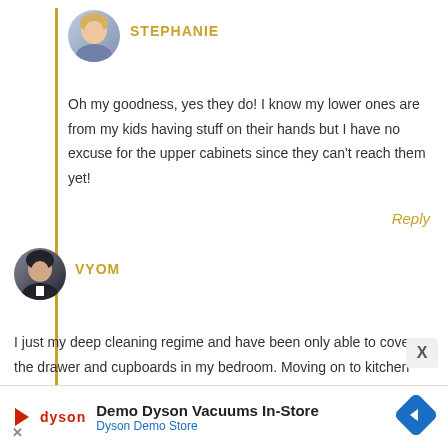[Figure (photo): Round avatar photo of Stephanie, a woman with blonde hair]
STEPHANIE
Oh my goodness, yes they do! I know my lower ones are from my kids having stuff on their hands but I have no excuse for the upper cabinets since they can't reach them yet!
Reply
[Figure (photo): Round avatar photo of Vyom, a person with dark hair]
VYOM
I just my deep cleaning regime and have been only able to cover the drawer and cupboards in my bedroom. Moving on to kitchen next and these tips are going to be my life-saver. The cleaner looks amazing and I am going to give it a try.
Demo Dyson Vacuums In-Store Dyson Demo Store